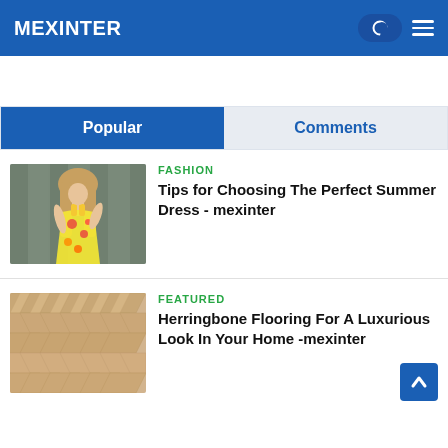MEXINTER
Popular | Comments
[Figure (photo): Woman wearing a floral summer dress standing outdoors in front of wooden fence panels]
FASHION
Tips for Choosing The Perfect Summer Dress - mexinter
[Figure (photo): Close-up of herringbone patterned light wood flooring]
FEATURED
Herringbone Flooring For A Luxurious Look In Your Home -mexinter